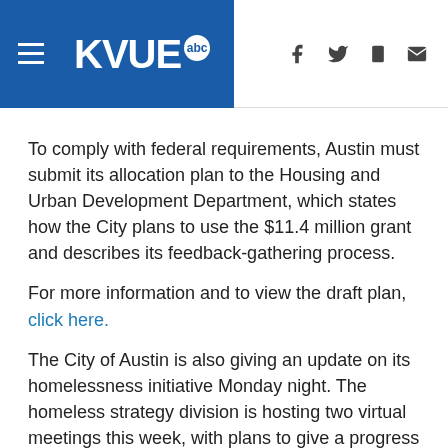KVUE abc
To comply with federal requirements, Austin must submit its allocation plan to the Housing and Urban Development Department, which states how the City plans to use the $11.4 million grant and describes its feedback-gathering process.
For more information and to view the draft plan, click here.
The City of Austin is also giving an update on its homelessness initiative Monday night. The homeless strategy division is hosting two virtual meetings this week, with plans to give a progress report on how Austin addressed homelessness over the past few months. It's also giving the public an opportunity to ask questions.
The Housing-focused Encampment Assistance Link, or HEAL, initiative; ARP Act investment framework; social service and housing solicitations; cold weather shelters; and the camping ordinance enforcement are all on the